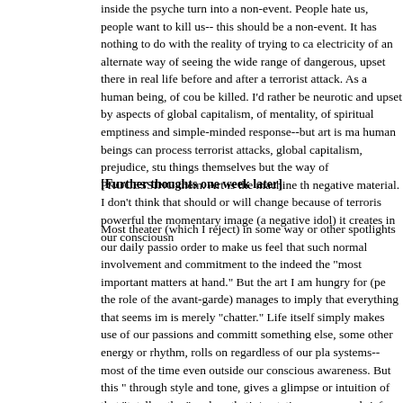inside the psyche turn into a non-event. People hate us, people want to kill us-- this should be a non-event. It has nothing to do with the reality of trying to capture the electricity of an alternate way of seeing the wide range of dangerous, upsetting things there in real life before and after a terrorist attack. As a human being, of course I don't want to be killed. I'd rather be neurotic and upset by aspects of global capitalism, of the herd mentality, of spiritual emptiness and simple-minded response--but art is made of the way human beings can process terrorist attacks, global capitalism, prejudice, stupidity--not the things themselves but the way of PROCESSING them. Art is the machine that processes negative material. I don't think that should or will change because of terrorism, however powerful the momentary image (a negative idol) it creates in our consciousness.
[Further thoughts one week later]
Most theater (which I reject) in some way or other spotlights our daily passions in order to make us feel that such normal involvement and commitment to the everyday is indeed the "most important matters at hand." But the art I am hungry for (perhaps the role of the avant-garde) manages to imply that everything that seems important is merely "chatter." Life itself simply makes use of our passions and commitments for something else, some other energy or rhythm, rolls on regardless of our plans and systems--most of the time even outside our conscious awareness. But this "something," through style and tone, gives a glimpse or intuition of that "totally other" reality--an aesthetic/ecstatic response--a brief flash of lightning. It's for this reason that I feel that the "event"--horrible and inescapable--is yet strangely irrelevant to the art, which is not really tuned to our daily turmoil, but merely uses that turmoil as the hypnotizing chatter--the potential fertilizer--of an evolution we can only intuit.